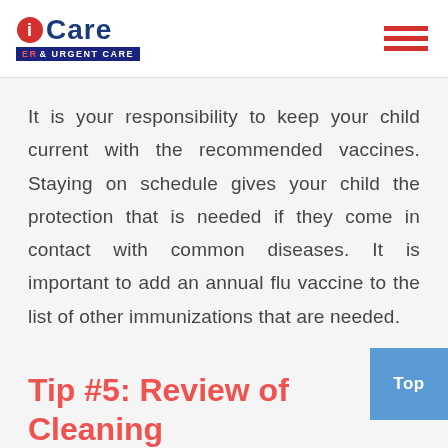iCare ER & URGENT CARE
It is your responsibility to keep your child current with the recommended vaccines. Staying on schedule gives your child the protection that is needed if they come in contact with common diseases. It is important to add an annual flu vaccine to the list of other immunizations that are needed.
Tip #5: Review of Cleaning